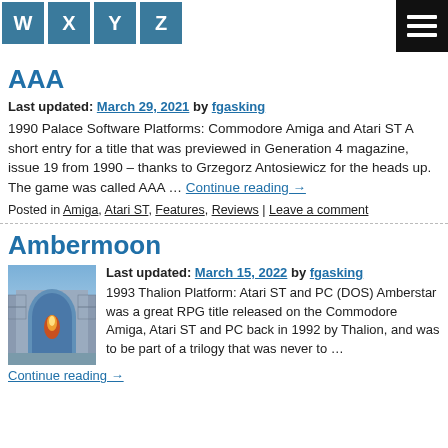W X Y Z [hamburger menu]
AAA
Last updated: March 29, 2021 by fgasking
1990 Palace Software Platforms: Commodore Amiga and Atari ST A short entry for a title that was previewed in Generation 4 magazine, issue 19 from 1990 – thanks to Grzegorz Antosiewicz for the heads up. The game was called AAA … Continue reading →
Posted in Amiga, Atari ST, Features, Reviews | Leave a comment
Ambermoon
Last updated: March 15, 2022 by fgasking
1993 Thalion Platform: Atari ST and PC (DOS) Amberstar was a great RPG title released on the Commodore Amiga, Atari ST and PC back in 1992 by Thalion, and was to be part of a trilogy that was never to … Continue reading →